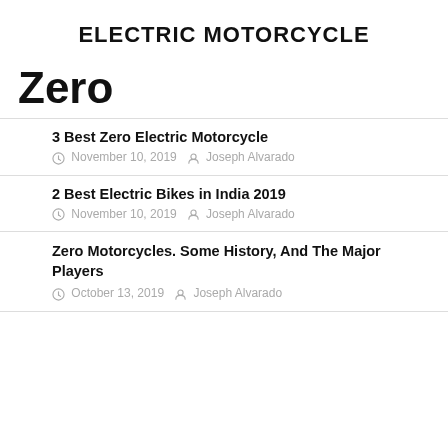ELECTRIC MOTORCYCLE
Zero
3 Best Zero Electric Motorcycle
November 10, 2019   Joseph Alvarado
2 Best Electric Bikes in India 2019
November 10, 2019   Joseph Alvarado
Zero Motorcycles. Some History, And The Major Players
October 13, 2019   Joseph Alvarado